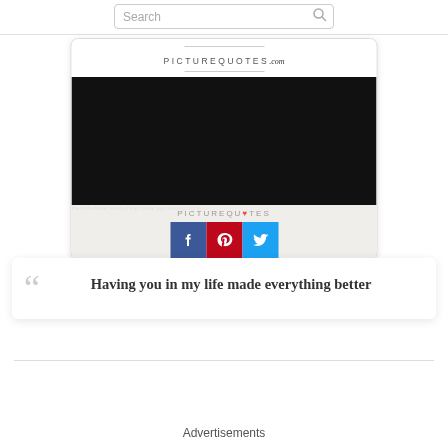[Figure (screenshot): Search bar with placeholder text 'Search' and a search icon on the right]
[Figure (screenshot): PictureQuotes.com website card showing the site logo, a large black image area, PICTUREQUOTES text, and Facebook, Pinterest, Twitter social share buttons on a beige background]
Having you in my life made everything better
Advertisements